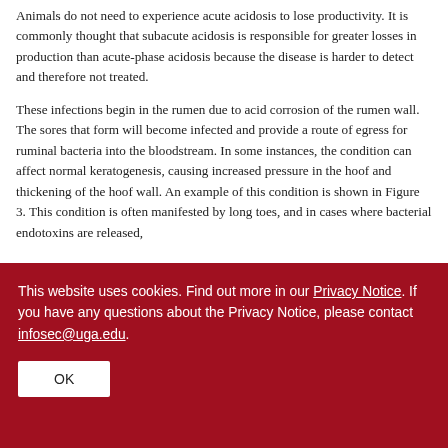Animals do not need to experience acute acidosis to lose productivity. It is commonly thought that subacute acidosis is responsible for greater losses in production than acute-phase acidosis because the disease is harder to detect and therefore not treated.
These infections begin in the rumen due to acid corrosion of the rumen wall. The sores that form will become infected and provide a route of egress for ruminal bacteria into the bloodstream. In some instances, the condition can affect normal keratogenesis, causing increased pressure in the hoof and thickening of the hoof wall. An example of this condition is shown in Figure 3. This condition is often manifested by long toes, and in cases where bacterial endotoxins are released,
This website uses cookies. Find out more in our Privacy Notice. If you have any questions about the Privacy Notice, please contact infosec@uga.edu.
OK